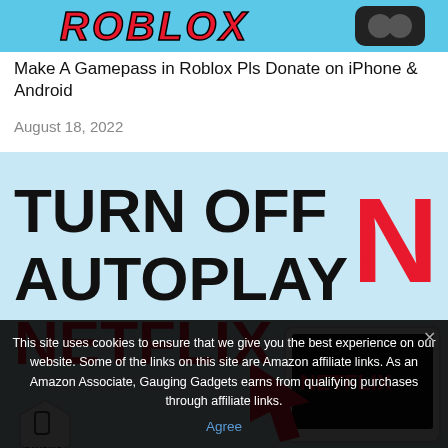[Figure (screenshot): Roblox banner with teal background and red italic Roblox logo text with a dark icon]
Make A Gamepass in Roblox Pls Donate on iPhone & Android
August 18, 2022
[Figure (screenshot): Netflix autoplay tutorial image with black bold text 'TURN OFF AUTOPLAY' on light blue background, red Netflix logo text and N logo, showing a tablet with Netflix UI and a red hand pointer cursor. A hexagonal Gauging Gadgets badge is in the bottom left.]
This site uses cookies to ensure that we give you the best experience on our website. Some of the links on this site are Amazon affiliate links. As an Amazon Associate, Gauging Gadgets earns from qualifying purchases through affiliate links.
Agree